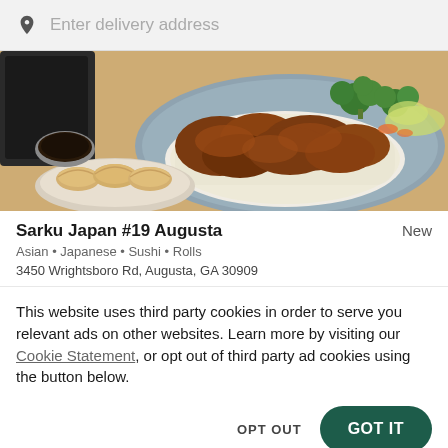Enter delivery address
[Figure (photo): Food photo showing a plate of teriyaki chicken over white rice with broccoli and vegetables, alongside gyoza dumplings and a sauce dish on a wooden table]
Sarku Japan #19 Augusta
New
Asian • Japanese • Sushi • Rolls
3450 Wrightsboro Rd, Augusta, GA 30909
This website uses third party cookies in order to serve you relevant ads on other websites. Learn more by visiting our Cookie Statement, or opt out of third party ad cookies using the button below.
OPT OUT
GOT IT